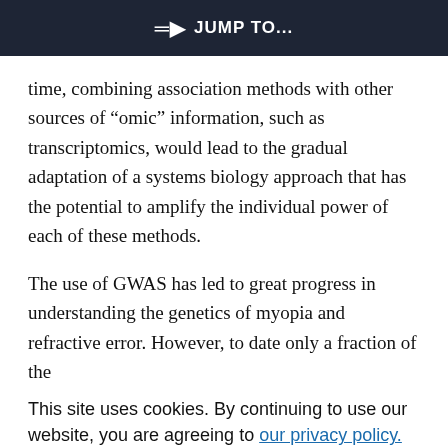JUMP TO...
time, combining association methods with other sources of “omic” information, such as transcriptomics, would lead to the gradual adaptation of a systems biology approach that has the potential to amplify the individual power of each of these methods.
The use of GWAS has led to great progress in understanding the genetics of myopia and refractive error. However, to date only a fraction of the
variation in refractive error (approximately 3.4% in the CREAM dataset) is explained by the variants identified. A lot more remains to be done, and future GWAS using larger and better genotyped or
This site uses cookies. By continuing to use our website, you are agreeing to our privacy policy. Accept